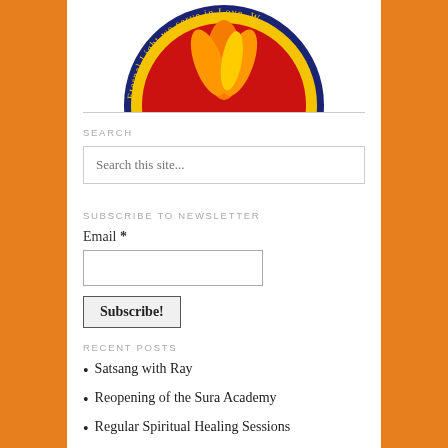[Figure (logo): Circular logo with navy blue border, red center, orange flame design, and gold text reading 'Eternal Light we serve in Love, W...']
SEARCH
Search this site...
SUBSCRIBE TO NEWSLETTER
Email *
Subscribe!
RECENT POSTS
Satsang with Ray
Reopening of the Sura Academy
Regular Spiritual Healing Sessions